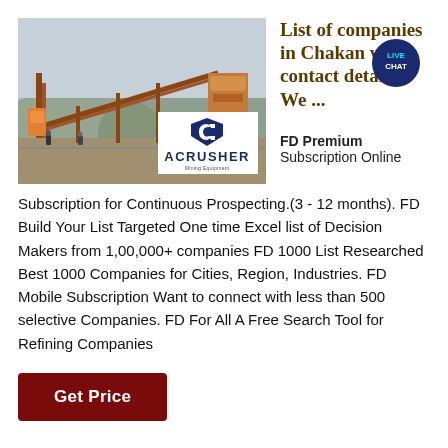[Figure (photo): Mining equipment / crusher facility with large metal structures and machinery outdoors; ACRUSHER Mining Equipment logo overlay in bottom right]
List of companies in Chakan with contact details. We ...
FD Premium Subscription Online Subscription for Continuous Prospecting.(3 - 12 months). FD Build Your List Targeted One time Excel list of Decision Makers from 1,00,000+ companies FD 1000 List Researched Best 1000 Companies for Cities, Region, Industries. FD Mobile Subscription Want to connect with less than 500 selective Companies. FD For All A Free Search Tool for Refining Companies
Get Price